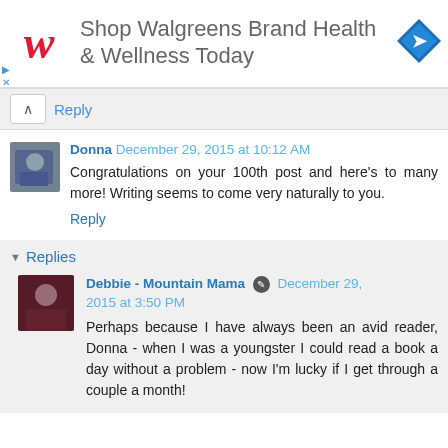[Figure (infographic): Walgreens advertisement banner: red cursive W logo on left, text 'Shop Walgreens Brand Health & Wellness Today' in grey, blue diamond navigation icon on right. Small blue play triangle and X close icons on left edge.]
Reply
Donna  December 29, 2015 at 10:12 AM
Congratulations on your 100th post and here's to many more! Writing seems to come very naturally to you.
Reply
Replies
Debbie - Mountain Mama  December 29, 2015 at 3:50 PM
Perhaps because I have always been an avid reader, Donna - when I was a youngster I could read a book a day without a problem - now I'm lucky if I get through a couple a month!